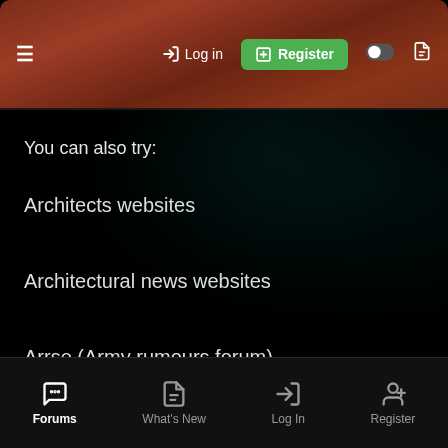≡  → Log in  ⊞ Register
You can also try:
Architects websites
Architectural news websites
Arrse (Army rumours forum)
Bing maps
Building company websites
Buildings at risk register
Forums  What's New  Log In  Register